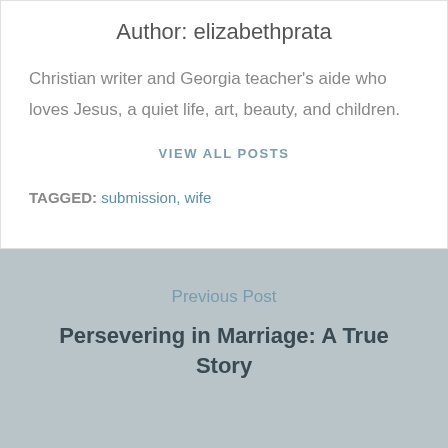Author: elizabethprata
Christian writer and Georgia teacher's aide who loves Jesus, a quiet life, art, beauty, and children.
VIEW ALL POSTS
TAGGED: submission, wife
Previous Post
Persevering in Marriage: A True Story